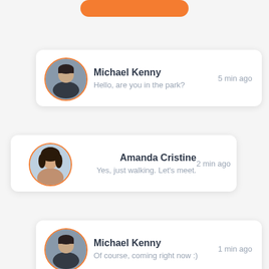[Figure (screenshot): Orange rounded button at top of screen, partially cropped]
Michael Kenny — Hello, are you in the park? — 5 min ago
Amanda Cristine — Yes, just walking. Let's meet. — 2 min ago
Michael Kenny — Of course, coming right now :) — 1 min ago